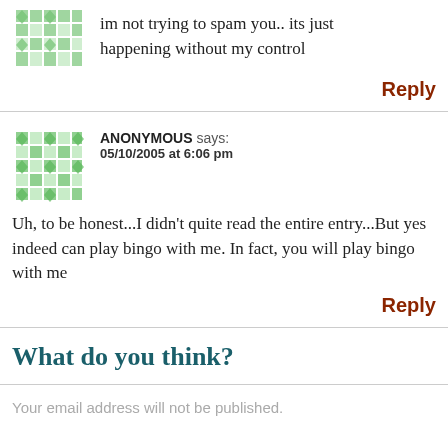im not trying to spam you.. its just happening without my control
Reply
ANONYMOUS says: 05/10/2005 at 6:06 pm
Uh, to be honest...I didn't quite read the entire entry...But yes indeed can play bingo with me. In fact, you will play bingo with me
Reply
What do you think?
Your email address will not be published.